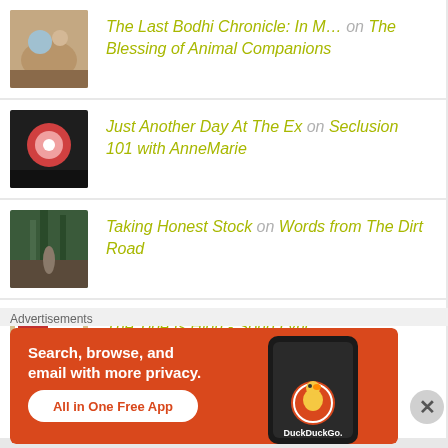The Last Bodhi Chronicle: In M... on The Blessing of Animal Companions
Just Another Day At The Ex on Seclusion 101 with AnneMarie
Taking Honest Stock on Words from The Dirt Road
The Tide Is High - Song Lyric... on teleportingweena
Blog To Review... on Blog...
Advertisements
[Figure (screenshot): DuckDuckGo advertisement banner with orange background. Text reads: Search, browse, and email with more privacy. All in One Free App. Shows a smartphone with DuckDuckGo logo.]